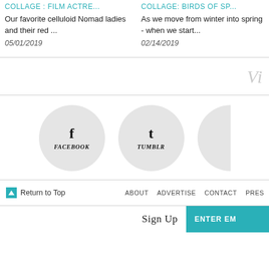COLLAGE : FILM ACTRE...
Our favorite celluloid Nomad ladies and their red ...
05/01/2019
COLLAGE: BIRDS OF SP...
As we move from winter into spring - when we start...
02/14/2019
VI
[Figure (illustration): Facebook social media circle button with letter f and label FACEBOOK]
[Figure (illustration): Tumblr social media circle button with letter t and label TUMBLR]
Return to Top
ABOUT  ADVERTISE  CONTACT  PRES...
Sign Up
ENTER EM...